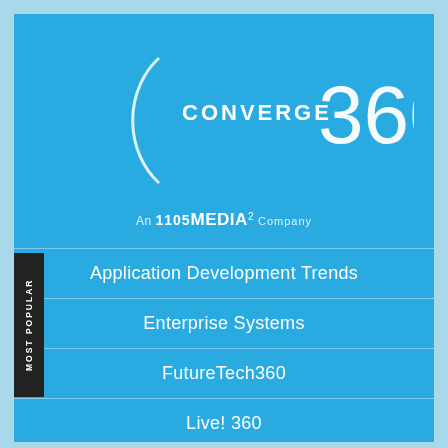[Figure (logo): Converge 360 logo with arc/circle graphic and '360' large numeral, white text on blue background]
An 1105 MEDIA² Company
Application Development Trends
Enterprise Systems
FutureTech360
Live! 360
MCPmag.com
MOST POPULAR